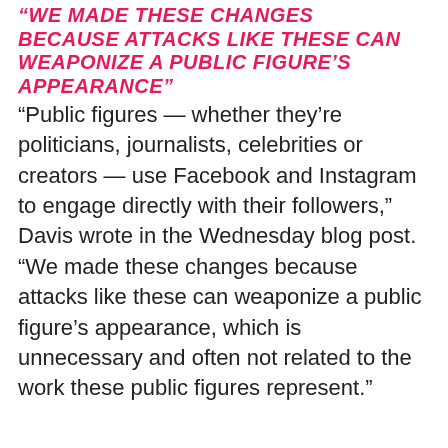“WE MADE THESE CHANGES BECAUSE ATTACKS LIKE THESE CAN WEAPONIZE A PUBLIC FIGURE’S APPEARANCE”
“Public figures — whether they’re politicians, journalists, celebrities or creators — use Facebook and Instagram to engage directly with their followers,” Davis wrote in the Wednesday blog post. “We made these changes because attacks like these can weaponize a public figure’s appearance, which is unnecessary and often not related to the work these public figures represent.”